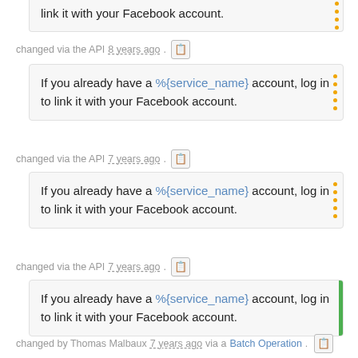link it with your Facebook account.
changed via the API 8 years ago.
If you already have a %{service_name} account, log in to link it with your Facebook account.
changed via the API 7 years ago.
If you already have a %{service_name} account, log in to link it with your Facebook account.
changed via the API 7 years ago.
If you already have a %{service_name} account, log in to link it with your Facebook account.
changed by Thomas Malbaux 7 years ago via a Batch Operation.